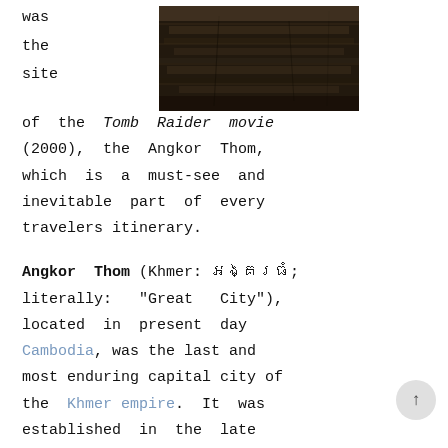[Figure (photo): Dark stone ruins/temple structure, appears to be Angkor Wat or similar Khmer temple]
was the site of the Tomb Raider movie (2000), the Angkor Thom, which is a must-see and inevitable part of every travelers itinerary.
Angkor Thom (Khmer: អង្គរធំ; literally: "Great City"), located in present day Cambodia, was the last and most enduring capital city of the Khmer empire. It was established in the late twelfth century by king Jayavarman VII. It covers an